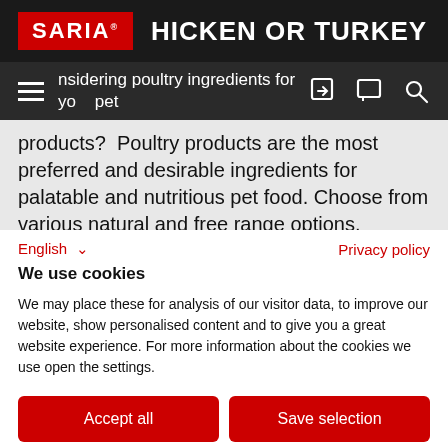SARIA — CHICKEN OR TURKEY
Considering poultry ingredients for your pet food products? Poultry products are the most preferred and desirable ingredients for palatable and nutritious pet food. Choose from various natural and free range options. Sourced freshly poultry products increase the
English ∨    Privacy policy
We use cookies
We may place these for analysis of our visitor data, to improve our website, show personalised content and to give you a great website experience. For more information about the cookies we use open the settings.
Accept all
Save selection
Deny
No, adjust